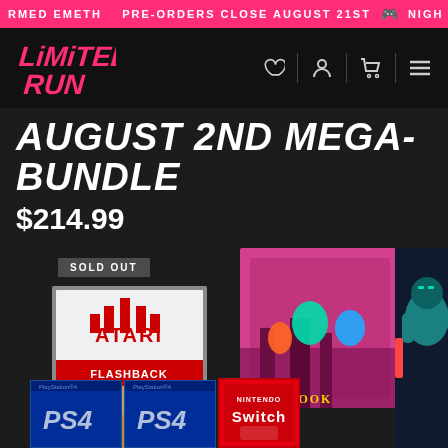RMED EMETH  PRE-ORDERS CLOSE AUGUST 21ST  NIGH
[Figure (logo): Limited Run Games logo in pink/magenta brush-stroke style]
AUGUST 2ND MEGA-BUNDLE
$214.99
[Figure (photo): Product bundle showing Atari Flashback Classics game case with SOLD OUT badge, two PS4 game boxes, a Nintendo Switch game box, and a colorful artbook with sci-fi characters]